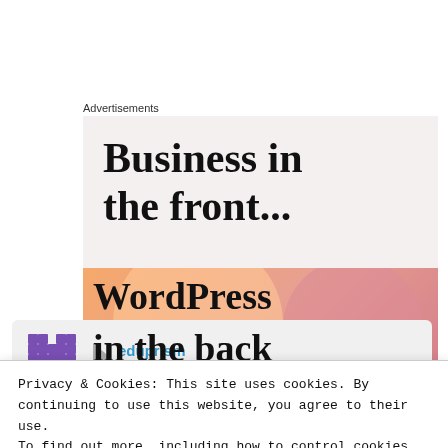Advertisements
[Figure (illustration): Advertisement block showing 'Business in the front...' text above a WordPress banner with orange/pink gradient background, partially showing 'WordPress in the back...' text]
eduprism
July 31, 2019 at 10:44 am
Privacy & Cookies: This site uses cookies. By continuing to use this website, you agree to their use.
To find out more, including how to control cookies, see here: Cookie Policy
Close and accept
anyone wants to learn salesforce